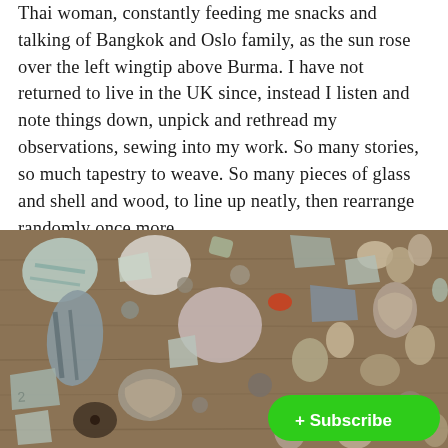Thai woman, constantly feeding me snacks and talking of Bangkok and Oslo family, as the sun rose over the left wingtip above Burma. I have not returned to live in the UK since, instead I listen and note things down, unpick and rethread my observations, sewing into my work. So many stories, so much tapestry to weave. So many pieces of glass and shell and wood, to line up neatly, then rearrange randomly once more.
[Figure (photo): Overhead photograph of a collection of sea glass, pebbles, shells and small pieces of wood arranged on a wooden surface. A green rounded Subscribe button with a + icon is overlaid in the bottom right corner.]